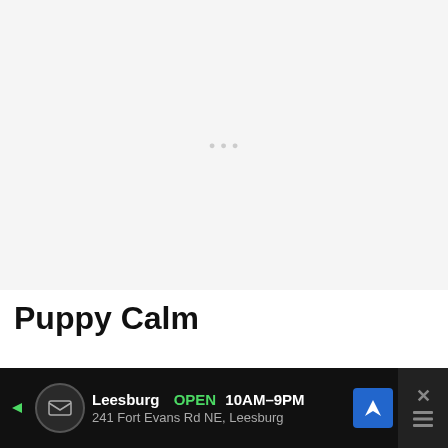[Figure (other): Large light grey image placeholder area at the top of the page]
Puppy Calm
Taking care of a sick puppy is difficult, stressful, and expensive. Your puppy's symptoms are often the most obvious way to tell if it is sick or needs medical
[Figure (other): Advertisement bar at the bottom: Leesburg OPEN 10AM–9PM, 241 Fort Evans Rd NE, Leesburg, with navigation icon and close button]